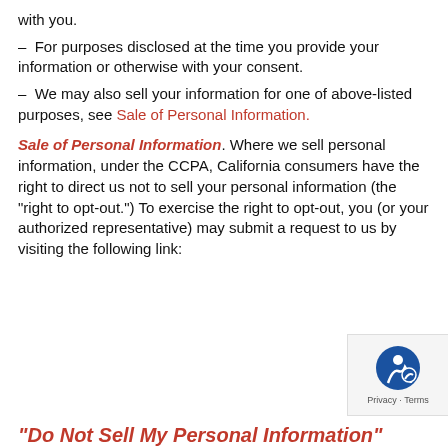with you.
– For purposes disclosed at the time you provide your information or otherwise with your consent.
– We may also sell your information for one of above-listed purposes, see Sale of Personal Information.
Sale of Personal Information. Where we sell personal information, under the CCPA, California consumers have the right to direct us not to sell your personal information (the "right to opt-out.") To exercise the right to opt-out, you (or your authorized representative) may submit a request to us by visiting the following link:
"Do Not Sell My Personal Information"